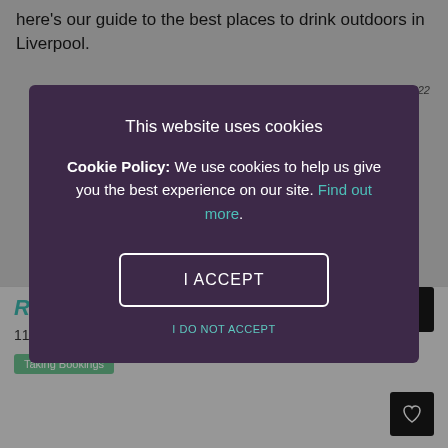here's our guide to the best places to drink outdoors in Liverpool.
Last updated on 26th August 2022
This website uses cookies
Cookie Policy: We use cookies to help us give you the best experience on our site. Find out more.
I ACCEPT
I DO NOT ACCEPT
Red Deer Liverpool
116 user reviews
Taking Bookings